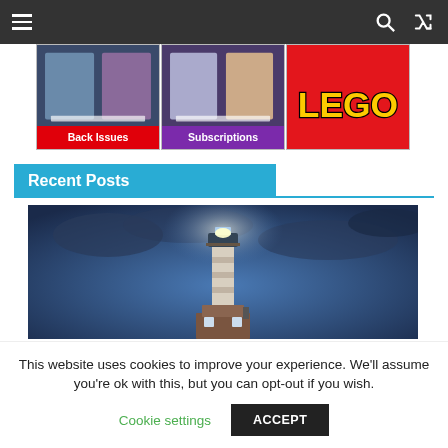Navigation bar with hamburger menu, search icon, and shuffle icon
[Figure (screenshot): Banner showing Back Issues with magazine covers, red label]
[Figure (screenshot): Banner showing Subscriptions with magazine covers, purple label]
[Figure (logo): LEGO logo banner on red background]
Recent Posts
[Figure (photo): Lighthouse at night with glowing light at top, dramatic cloudy blue sky]
This website uses cookies to improve your experience. We'll assume you're ok with this, but you can opt-out if you wish.
Cookie settings   ACCEPT